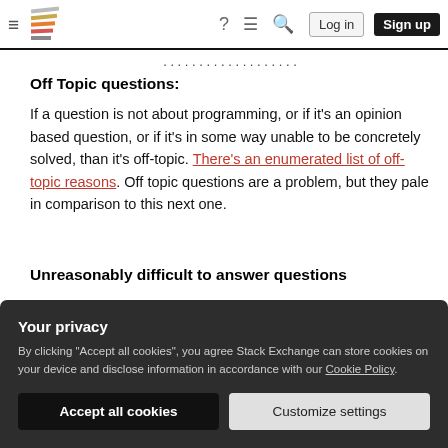Stack Exchange navigation bar with hamburger menu, logo, help, chat, search icons, Log in and Sign up buttons
... [truncated top content] ...
Off Topic questions:
If a question is not about programming, or if it's an opinion based question, or if it's in some way unable to be concretely solved, than it's off-topic. There's an enumerated list of off-topic reasons. Off topic questions are a problem, but they pale in comparison to this next one.
Unreasonably difficult to answer questions
Your privacy
By clicking "Accept all cookies", you agree Stack Exchange can store cookies on your device and disclose information in accordance with our Cookie Policy.
Accept all cookies  Customize settings